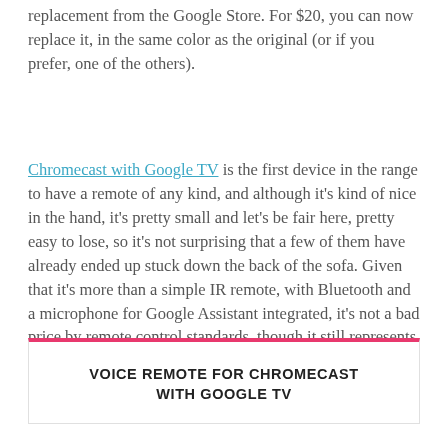replacement from the Google Store. For $20, you can now replace it, in the same color as the original (or if you prefer, one of the others).
Chromecast with Google TV is the first device in the range to have a remote of any kind, and although it's kind of nice in the hand, it's pretty small and let's be fair here, pretty easy to lose, so it's not surprising that a few of them have already ended up stuck down the back of the sofa. Given that it's more than a simple IR remote, with Bluetooth and a microphone for Google Assistant integrated, it's not a bad price by remote control standards, though it still represents half the cost of a whole new device.
VOICE REMOTE FOR CHROMECAST WITH GOOGLE TV